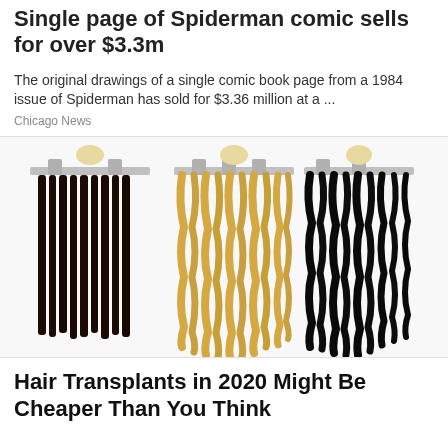Single page of Spiderman comic sells for over $3.3m
The original drawings of a single comic book page from a 1984 issue of Spiderman has sold for $3.36 million at a ...
Chicago News
[Figure (photo): Three hair extension wefts hanging from clips — one straight dark brown, one wavy blonde, one wavy black]
Hair Transplants in 2020 Might Be Cheaper Than You Think